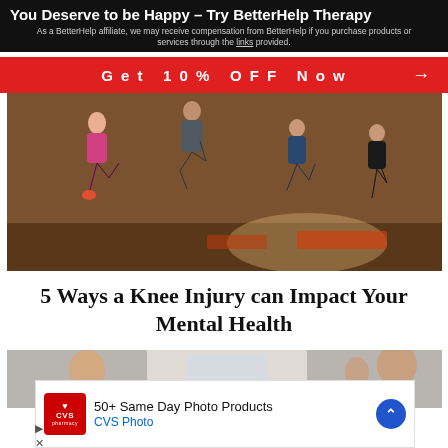You Deserve to be Happy – Try BetterHelp Therapy
As a BetterHelp affiliate, we may receive compensation from BetterHelp if you purchase products or services through the links provided.
Get 10% OFF Now
[Figure (photo): Group of people doing high-knee exercises in a fitness studio with wood-paneled walls and exercise mats on the floor.]
5 Ways a Knee Injury can Impact Your Mental Health
[Figure (photo): Partially visible photo of two people, one wearing glasses, in a bright room.]
[Figure (advertisement): CVS Photo advertisement: 50+ Same Day Photo Products. CVS Photo.]